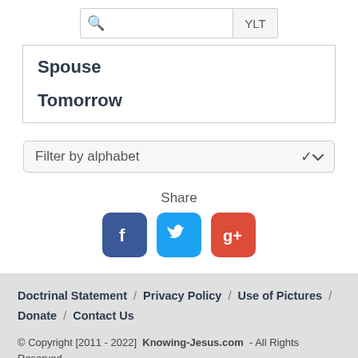[Figure (screenshot): Search bar with magnifying glass icon and YLT button]
Spouse
Tomorrow
[Figure (screenshot): Filter by alphabet dropdown selector]
Share
[Figure (screenshot): Social sharing icons: Facebook, Twitter, Google+]
Doctrinal Statement / Privacy Policy / Use of Pictures / Donate / Contact Us
© Copyright [2011 - 2022]  Knowing-Jesus.com  - All Rights Reserved